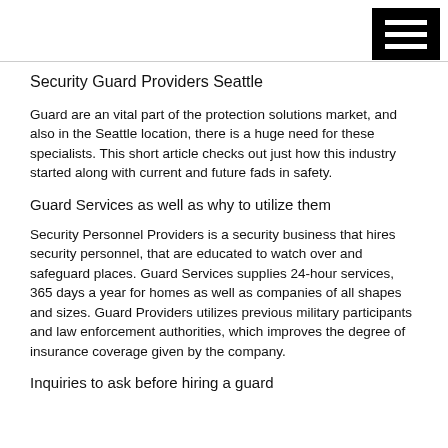Security Guard Providers Seattle
Guard are an vital part of the protection solutions market, and also in the Seattle location, there is a huge need for these specialists. This short article checks out just how this industry started along with current and future fads in safety.
Guard Services as well as why to utilize them
Security Personnel Providers is a security business that hires security personnel, that are educated to watch over and safeguard places. Guard Services supplies 24-hour services, 365 days a year for homes as well as companies of all shapes and sizes. Guard Providers utilizes previous military participants and law enforcement authorities, which improves the degree of insurance coverage given by the company.
Inquiries to ask before hiring a guard